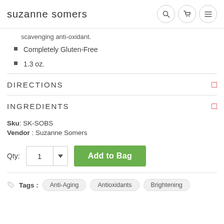suzanne somers
scavenging anti-oxidant.
Completely Gluten-Free
1.3 oz.
DIRECTIONS
INGREDIENTS
Sku: SK-SOBS
Vendor : Suzanne Somers
Qty: 1  Add to Bag
Tags : Anti-Aging  Antioxidants  Brightening